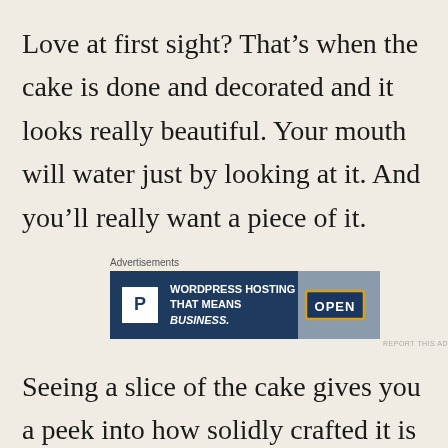Love at first sight? That’s when the cake is done and decorated and it looks really beautiful. Your mouth will water just by looking at it. And you’ll really want a piece of it.
[Figure (screenshot): Advertisement banner for WordPress Hosting by Pressable. Dark navy blue background with white P logo box on left, text 'WORDPRESS HOSTING THAT MEANS BUSINESS.' in white bold, and a photo of an OPEN sign on the right.]
Seeing a slice of the cake gives you a peek into how solidly crafted it is inside. Some